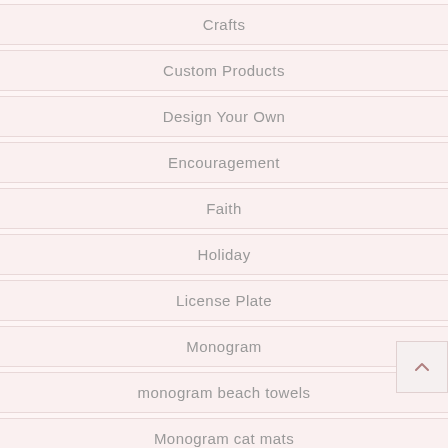Crafts
Custom Products
Design Your Own
Encouragement
Faith
Holiday
License Plate
Monogram
monogram beach towels
Monogram cat mats
Monogram Gifts